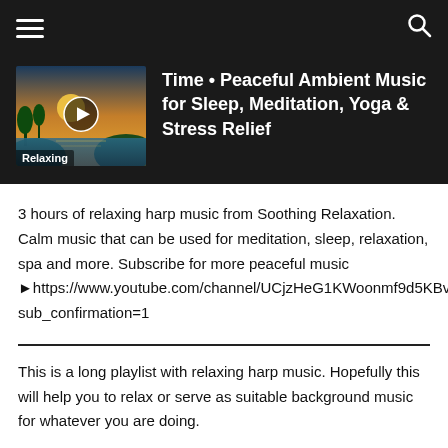≡  🔍
[Figure (screenshot): Thumbnail image of a sunset/nature scene with a play button overlay and 'Relaxing' label]
Time • Peaceful Ambient Music for Sleep, Meditation, Yoga & Stress Relief
3 hours of relaxing harp music from Soothing Relaxation. Calm music that can be used for meditation, sleep, relaxation, spa and more. Subscribe for more peaceful music ►https://www.youtube.com/channel/UCjzHeG1KWoonmf9d5KBvSiw?sub_confirmation=1
This is a long playlist with relaxing harp music. Hopefully this will help you to relax or serve as suitable background music for whatever you are doing.